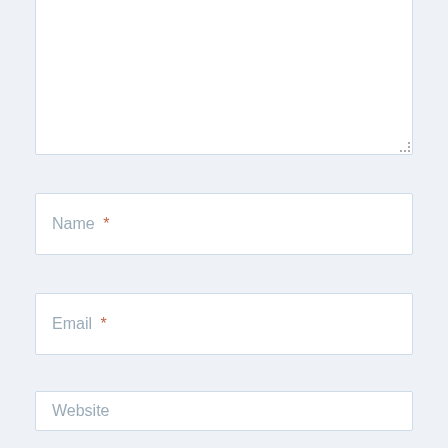[Figure (screenshot): A web comment form showing a large textarea at the top (partially visible, with resize handle), followed by a Name input field with asterisk, an Email input field with asterisk, and a partially visible Website input field at the bottom. All fields have white backgrounds and light blue-gray borders on a light blue-gray page background.]
Name *
Email *
Website